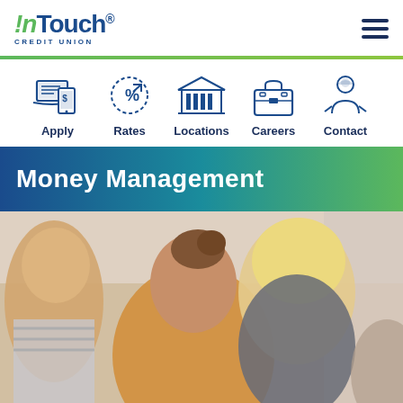[Figure (logo): InTouch Credit Union logo - green and blue stylized text with exclamation mark]
[Figure (infographic): Navigation icons row: Apply (laptop/phone icon), Rates (percent circle icon), Locations (building/bank icon), Careers (briefcase icon), Contact (person icon)]
Money Management
[Figure (photo): Photo of a mother and two young children, one blonde toddler in overalls leaning forward, mother in yellow shirt with hair up, another young child at left in striped shirt]